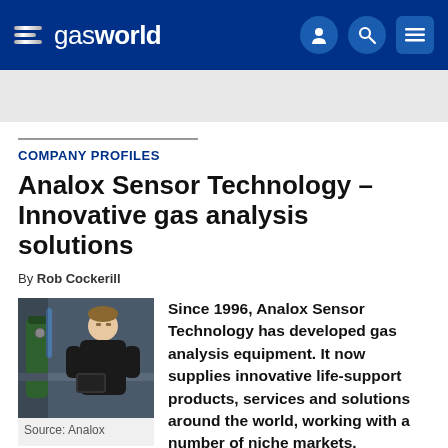gasworld
COMPANY PROFILES
Analox Sensor Technology – Innovative gas analysis solutions
By Rob Cockerill
[Figure (photo): Person in black clothing working with industrial gas equipment in a workshop setting]
Source: Analox
Since 1996, Analox Sensor Technology has developed gas analysis equipment. It now supplies innovative life-support products, services and solutions around the world, working with a number of niche markets.